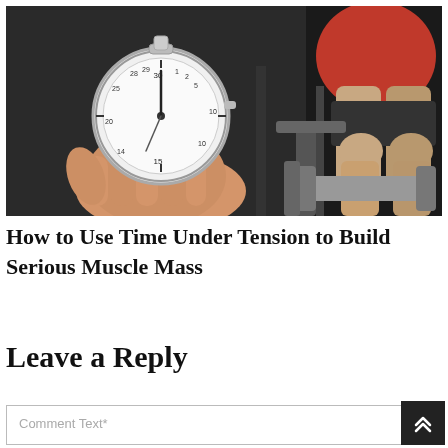[Figure (photo): A hand holding a stopwatch/timer in the foreground, with a muscular person in a red shirt working out with dumbbells in the background.]
How to Use Time Under Tension to Build Serious Muscle Mass
Leave a Reply
Comment Text*